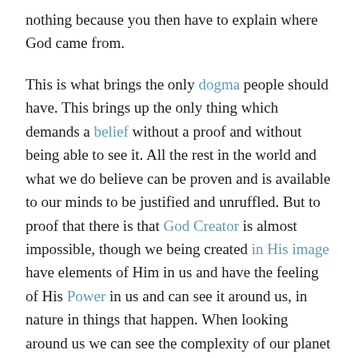nothing because you then have to explain where God came from.
This is what brings the only dogma people should have. This brings up the only thing which demands a belief without a proof and without being able to see it. All the rest in the world and what we do believe can be proven and is available to our minds to be justified and unruffled. But to proof that there is that God Creator is almost impossible, though we being created in His image have elements of Him in us and have the feeling of His Power in us and can see it around us, in nature in things that happen. When looking around us we can see the complexity of our planet and how things are made up, which points to a deliberate Designer who not only created our universe, but sustains it still today.